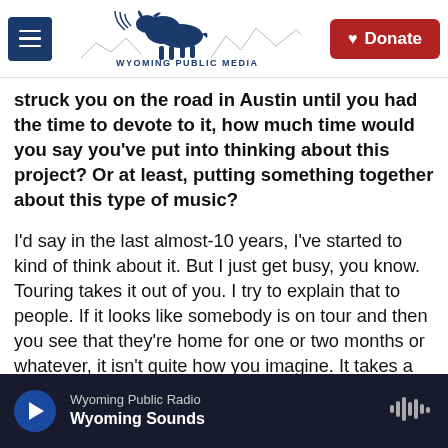[Figure (logo): Wyoming Public Media logo with bison and mountains, blue and white]
struck you on the road in Austin until you had the time to devote to it, how much time would you say you've put into thinking about this project? Or at least, putting something together about this type of music?
I'd say in the last almost-10 years, I've started to kind of think about it. But I just get busy, you know. Touring takes it out of you. I try to explain that to people. If it looks like somebody is on tour and then you see that they're home for one or two months or whatever, it isn't quite how you imagine. It takes a lot to transition out of. And so I've been wanting to
Wyoming Public Radio  Wyoming Sounds